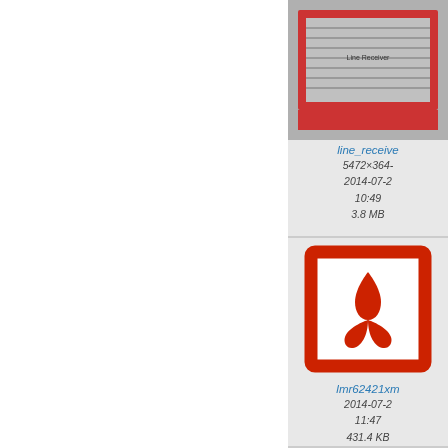[Figure (screenshot): Thumbnail image of a document or chart with red accents and ruler/measurement markings]
line_receive
5472×364
2014-07-2
10:49
3.8 MB
[Figure (other): Adobe Acrobat PDF file icon with red border and red Acrobat logo]
lmr62421xm
2014-07-2
11:47
431.4 KB
[Figure (other): Adobe Acrobat PDF file icon with red border and red Acrobat logo (partially visible)]